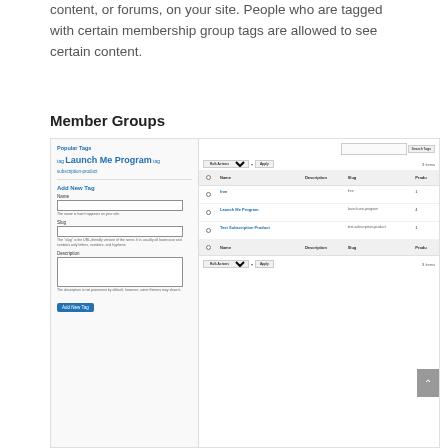content, or forums, on your site. People who are tagged with certain membership group tags are allowed to see certain content.
Member Groups
[Figure (screenshot): Screenshot of WordPress Member Groups admin page. Left panel shows Popular Tags with 'Launch Me Program' tag in large text, subscription-product link, and an Add New Tag form with Name, Slug, and Description fields, plus an Add New Tag button. Right panel shows a tag list table with columns: checkbox, Name, Description, Slug, Product. Rows: free (slug: free, 1 product), Launch Me Program (slug: launch-me-program, 4 products), Test Subscription Product (slug: test-subscription-product, 1 product). Bulk Actions and Apply controls appear at top and bottom.]